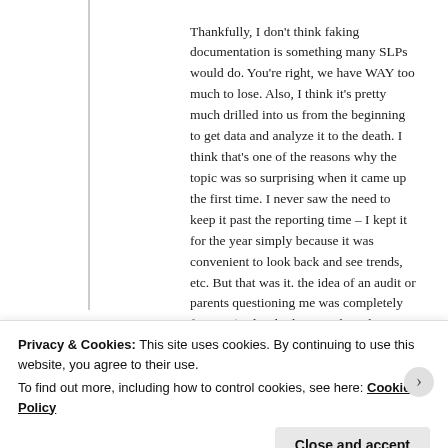Thankfully, I don't think faking documentation is something many SLPs would do. You're right, we have WAY too much to lose. Also, I think it's pretty much drilled into us from the beginning to get data and analyze it to the death. I think that's one of the reasons why the topic was so surprising when it came up the first time. I never saw the need to keep it past the reporting time – I kept it for the year simply because it was convenient to look back and see trends, etc. But that was it. the idea of an audit or parents questioning me was completely foreign (and, I think I must have been pretty naive).
Privacy & Cookies: This site uses cookies. By continuing to use this website, you agree to their use.
To find out more, including how to control cookies, see here: Cookie Policy